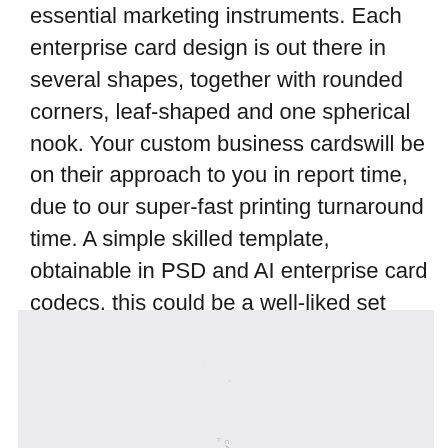essential marketing instruments. Each enterprise card design is out there in several shapes, together with rounded corners, leaf-shaped and one spherical nook. Your custom business cardswill be on their approach to you in report time, due to our super-fast printing turnaround time. A simple skilled template, obtainable in PSD and AI enterprise card codecs, this could be a well-liked set that’s been used by over 1,250 customers. The Photoshop and Illustrator recordsdata include all layers able to be personalized and correctly organized for printing.
[Figure (photo): A light gray/white image showing what appears to be a business card design, partially visible at the bottom of the page. Some faint text reading 'CARD' is visible rotated vertically.]